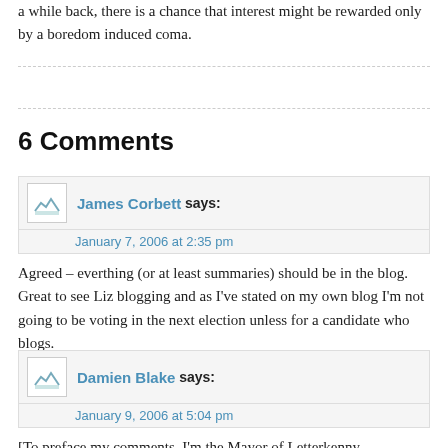a while back, there is a chance that interest might be rewarded only by a boredom induced coma.
6 Comments
James Corbett says:
January 7, 2006 at 2:35 pm

Agreed – everthing (or at least summaries) should be in the blog. Great to see Liz blogging and as I've stated on my own blog I'm not going to be voting in the next election unless for a candidate who blogs.
Damien Blake says:
January 9, 2006 at 5:04 pm

[To preface my comments, I'm the Mayor of Letterkenny